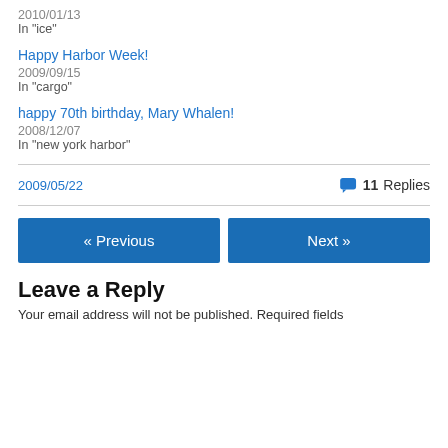2010/01/13
In "ice"
Happy Harbor Week!
2009/09/15
In "cargo"
happy 70th birthday, Mary Whalen!
2008/12/07
In "new york harbor"
2009/05/22
11 Replies
« Previous
Next »
Leave a Reply
Your email address will not be published. Required fields